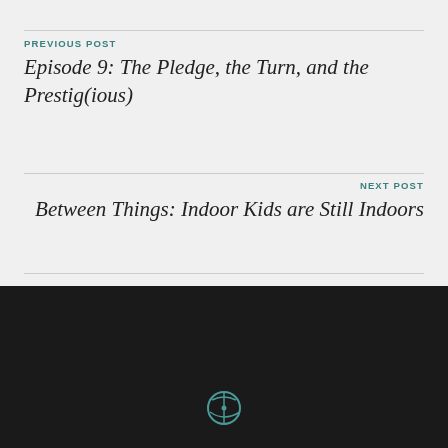PREVIOUS POST
Episode 9: The Pledge, the Turn, and the Prestig(ious)
NEXT POST
Between Things: Indoor Kids are Still Indoors
[Figure (logo): WordPress logo circle icon]